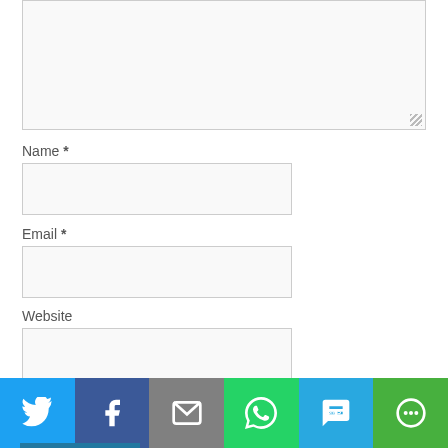[Figure (screenshot): Textarea stub at top of form, partially visible, with resize handle at bottom right]
Name *
[Figure (screenshot): Name input field, empty, light gray background]
Email *
[Figure (screenshot): Email input field, empty, light gray background]
Website
[Figure (screenshot): Website input field, empty, light gray background]
댓글 알림 이메일 받기
새 글 알림 이메일 받기
Post Comment
[Figure (infographic): Social sharing bar with Twitter, Facebook, Email, WhatsApp, SMS, and More buttons]